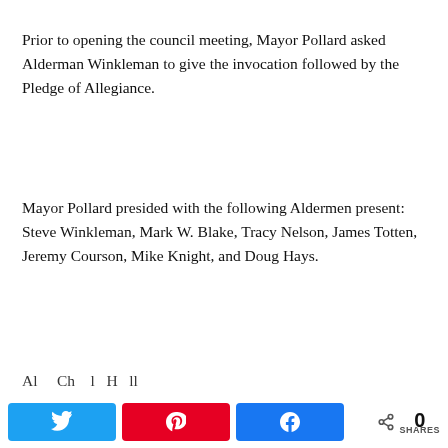Prior to opening the council meeting, Mayor Pollard asked Alderman Winkleman to give the invocation followed by the Pledge of Allegiance.
Mayor Pollard presided with the following Aldermen present: Steve Winkleman, Mark W. Blake, Tracy Nelson, James Totten, Jeremy Courson, Mike Knight, and Doug Hays.
Al... Ch... l... H... ll...